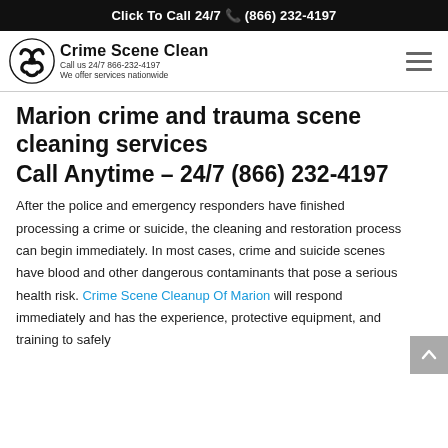Click To Call 24/7 📞 (866) 232-4197
[Figure (logo): Crime Scene Clean logo with biohazard symbol and text: Crime Scene Clean, Call us 24/7 866-232-4197, We offer services nationwide]
Marion crime and trauma scene cleaning services
Call Anytime – 24/7 (866) 232-4197
After the police and emergency responders have finished processing a crime or suicide, the cleaning and restoration process can begin immediately. In most cases, crime and suicide scenes have blood and other dangerous contaminants that pose a serious health risk. Crime Scene Cleanup Of Marion will respond immediately and has the experience, protective equipment, and training to safely